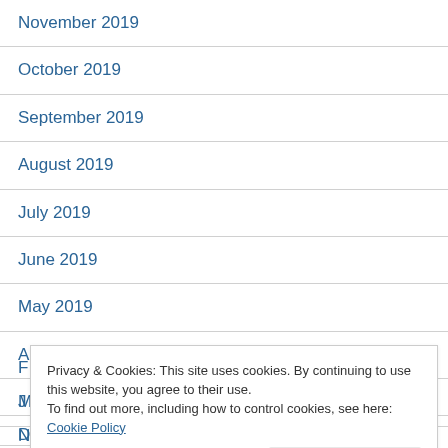November 2019
October 2019
September 2019
August 2019
July 2019
June 2019
May 2019
April 2019
March 2019
Privacy & Cookies: This site uses cookies. By continuing to use this website, you agree to their use.
To find out more, including how to control cookies, see here: Cookie Policy
November 2018